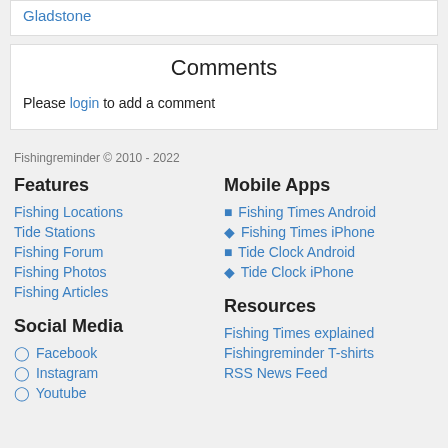Gladstone
Comments
Please login to add a comment
Fishingreminder © 2010 - 2022
Features
Fishing Locations
Tide Stations
Fishing Forum
Fishing Photos
Fishing Articles
Mobile Apps
🐟 Fishing Times Android
🍎 Fishing Times iPhone
🐟 Tide Clock Android
🍎 Tide Clock iPhone
Social Media
Facebook
Instagram
Youtube
Resources
Fishing Times explained
Fishingreminder T-shirts
RSS News Feed